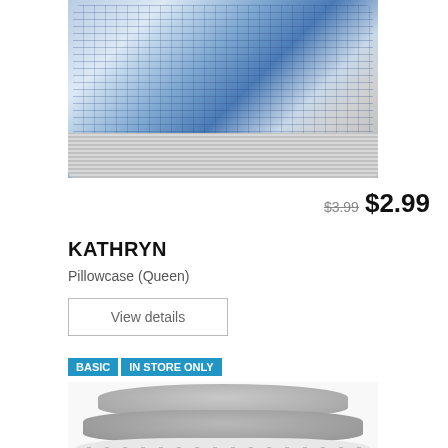[Figure (photo): Blue plaid pillow on top of a gray striped pillow, product shot on white background]
$3.99 $2.99
KATHRYN
Pillowcase (Queen)
View details
BASIC  IN STORE ONLY
[Figure (photo): Stack of colorful pillowcases in gray, white with dots, pink with stripes, green with dots, and pink floral pattern]